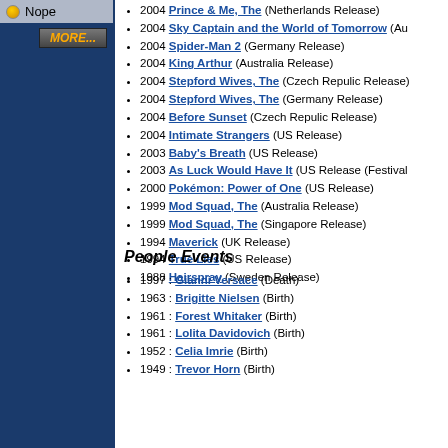Nope
2004 Prince & Me, The (Netherlands Release)
2004 Sky Captain and the World of Tomorrow (Au...)
2004 Spider-Man 2 (Germany Release)
2004 King Arthur (Australia Release)
2004 Stepford Wives, The (Czech Repulic Release)
2004 Stepford Wives, The (Germany Release)
2004 Before Sunset (Czech Repulic Release)
2004 Intimate Strangers (US Release)
2003 Baby's Breath (US Release)
2003 As Luck Would Have It (US Release (Festival...
2000 Pokémon: Power of One (US Release)
1999 Mod Squad, The (Australia Release)
1999 Mod Squad, The (Singapore Release)
1994 Maverick (UK Release)
1994 True Lies (US Release)
1988 Hairspray (Sweden Release)
People Events
1997 : Gianni Versace (Death)
1963 : Brigitte Nielsen (Birth)
1961 : Forest Whitaker (Birth)
1961 : Lolita Davidovich (Birth)
1952 : Celia Imrie (Birth)
1949 : Trevor Horn (Birth)
BET WHAT YOU WA...
OUR ONLINE BETTING EXCHANGE IS O...
Register Today For Exclusive Launch Offers And B...
Advertising   Terms & C...   © 1999...